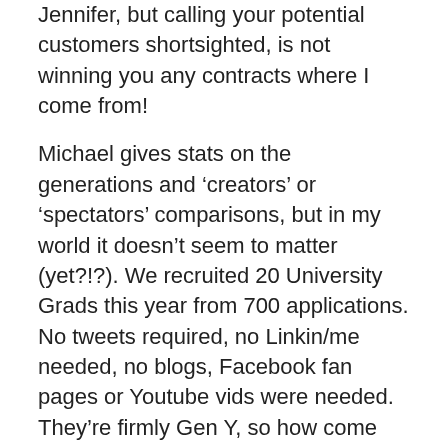Jennifer, but calling your potential customers shortsighted, is not winning you any contracts where I come from!
Michael gives stats on the generations and ‘creators’ or ‘spectators’ comparisons, but in my world it doesn’t seem to matter (yet?!?). We recruited 20 University Grads this year from 700 applications. No tweets required, no Linkin/me needed, no blogs, Facebook fan pages or Youtube vids were needed. They’re firmly Gen Y, so how come we get 700 apps? We also recruited 10 trainees straight from Year 12. They’re 17 and 18 year olds. 120 applications. No social media was used or required to get very high quality fields and recruits.
What i’m trying to say is, yes it may work, but so